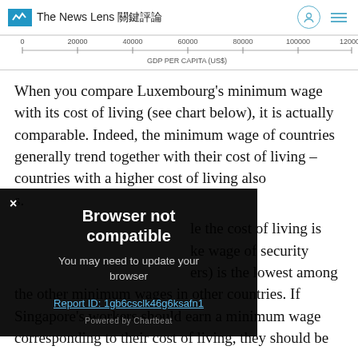The News Lens 關鍵評論
[Figure (continuous-plot): Partial x-axis of a scatter plot showing GDP Per Capita (US$) with tick marks at 0, 20000, 40000, 60000, 80000, 100000, 120000]
When you compare Luxembourg's minimum wage with its cost of living (see chart below), it is actually comparable. Indeed, the minimum wage of countries generally trend together with their cost of living – countries with a higher cost of living also [have higher minimum wages].
[...] while the cost of living is [...] the wage of security [...ers] is the lowest among the other minimum wages in other countries. If Singapore's workers should earn a minimum wage corresponding to their cost of living, they should be
[Figure (screenshot): Browser not compatible dialog overlay. Title: 'Browser not compatible'. Body text: 'You may need to update your browser'. Link: 'Report ID: 1gb6csclk46g6ksafn1'. Powered by Chartbeat.]